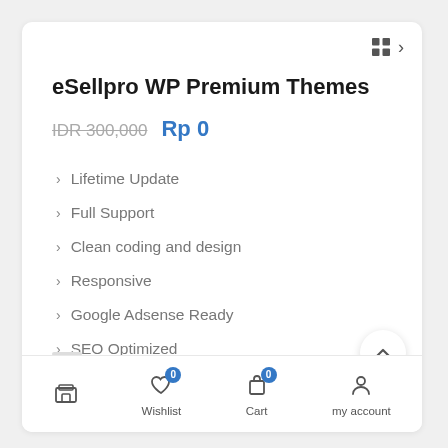eSellpro WP Premium Themes
IDR 300,000  Rp 0
Lifetime Update
Full Support
Clean coding and design
Responsive
Google Adsense Ready
SEO Optimized
Compatible All Browsers
Multiple Layouts
Wishlist  Cart  my account